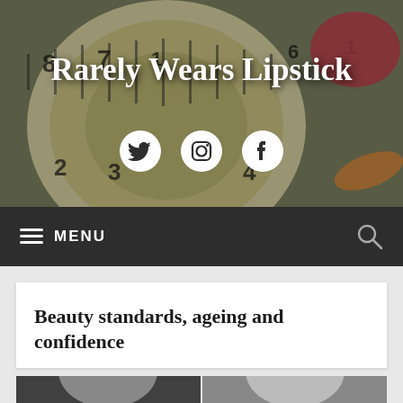[Figure (photo): Blog header banner with tape measure background image, showing measuring tape coiled up close in olive/grey tones]
Rarely Wears Lipstick
[Figure (illustration): Social media icons: Twitter bird, Instagram camera, Facebook logo — all white on the header photo]
≡ MENU 🔍
Beauty standards, ageing and confidence
[Figure (photo): Black and white photo strip showing two women's faces side by side, partially cropped at the bottom]